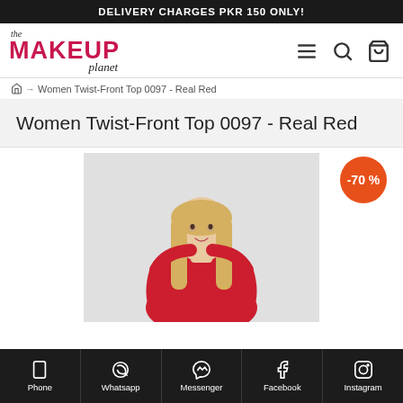DELIVERY CHARGES PKR 150 ONLY!
[Figure (logo): The Makeup Planet logo with pink/magenta MAKEUP text and cursive planet script]
⌂ → Women Twist-Front Top 0097 - Real Red
Women Twist-Front Top 0097 - Real Red
[Figure (photo): Woman with blonde hair wearing a red twist-front top against a grey background, with a -70% discount badge in orange-red]
Phone  Whatsapp  Messenger  Facebook  Instagram